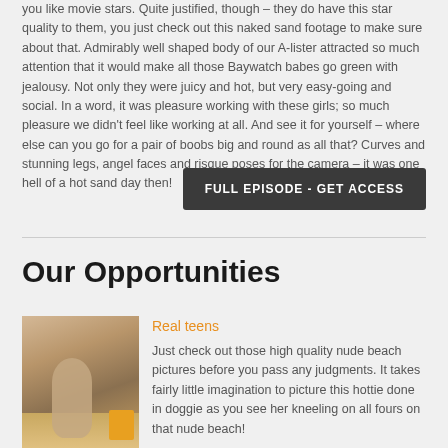you like movie stars. Quite justified, though – they do have this star quality to them, you just check out this naked sand footage to make sure about that. Admirably well shaped body of our A-lister attracted so much attention that it would make all those Baywatch babes go green with jealousy. Not only they were juicy and hot, but very easy-going and social. In a word, it was pleasure working with these girls; so much pleasure we didn't feel like working at all. And see it for yourself – where else can you go for a pair of boobs big and round as all that? Curves and stunning legs, angel faces and risque poses for the camera – it was one hell of a hot sand day then!
FULL EPISODE - GET ACCESS
Our Opportunities
[Figure (photo): Beach photo showing a person on sand with yellow object]
Real teens
Just check out those high quality nude beach pictures before you pass any judgments. It takes fairly little imagination to picture this hottie done in doggie as you see her kneeling on all fours on that nude beach!